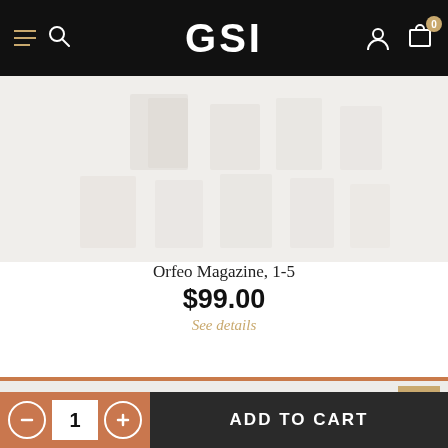GSI
Orfeo Magazine, 1-5
$99.00
See details
Stay In Touch
ADD TO CART